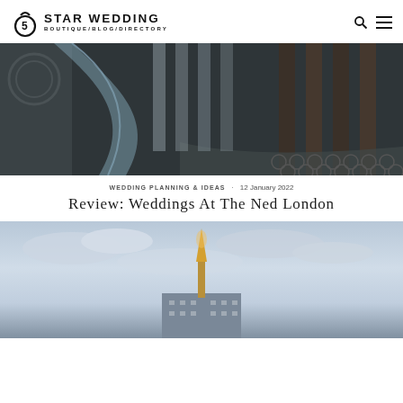5 STAR WEDDING BOUTIQUE/BLOG/DIRECTORY
[Figure (photo): Interior architectural photo showing ornate columns, marble floor patterns, and a draped fabric or veil in dark tones]
WEDDING PLANNING & IDEAS · 12 January 2022
Review: Weddings At The Ned London
[Figure (photo): Exterior photo of a London building or monument at dusk with a cloudy sky, showing a tall illuminated spire or tower]